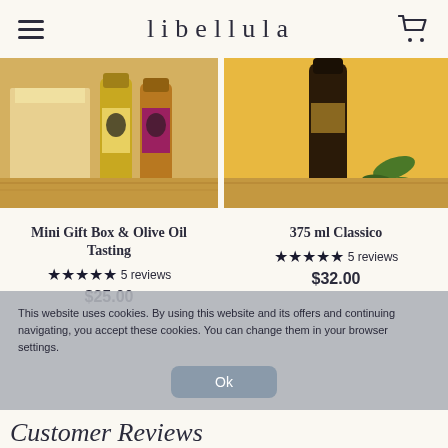libellula
[Figure (photo): Two olive oil bottles with illustrated woman labels in yellow tones, with gift box packaging on a wooden surface]
[Figure (photo): Dark glass bottle of olive oil (375ml Classico) on a wooden surface with yellow background and green leaves]
Mini Gift Box & Olive Oil Tasting
★★★★★ 5 reviews
$25.00
375 ml Classico
★★★★★ 5 reviews
$32.00
This website uses cookies. By using this website and its offers and continuing navigating, you accept these cookies. You can change them in your browser settings.
Customer Reviews